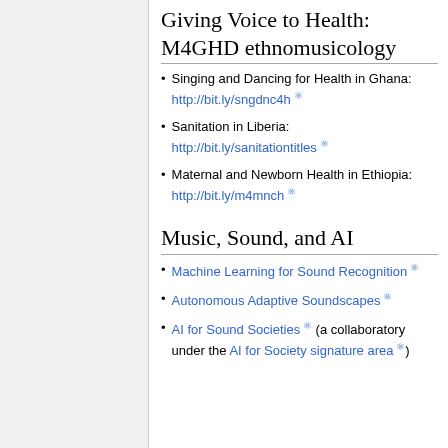Giving Voice to Health: M4GHD ethnomusicology
Singing and Dancing for Health in Ghana: http://bit.ly/sngdnc4h
Sanitation in Liberia: http://bit.ly/sanitationtitles
Maternal and Newborn Health in Ethiopia: http://bit.ly/m4mnch
Music, Sound, and AI
Machine Learning for Sound Recognition
Autonomous Adaptive Soundscapes
AI for Sound Societies (a collaboratory under the AI for Society signature area)